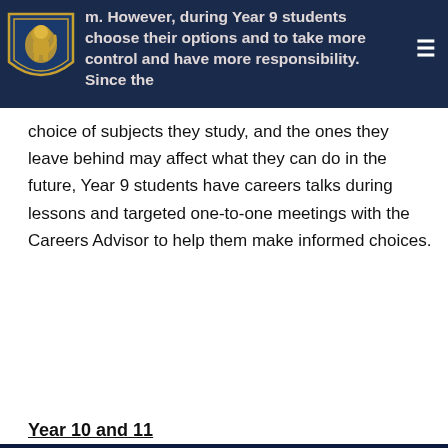m. However, during Year 9 students choose their options and to take more control and have more responsibility. Since the
choice of subjects they study, and the ones they leave behind may affect what they can do in the future, Year 9 students have careers talks during lessons and targeted one-to-one meetings with the Careers Advisor to help them make informed choices.
Year 10 and 11
By default cookies are switched off for this site. You can enable them by clicking the green button. By not enabling cookies some features of the site may not be visible to you. For example, facebook feeds, Google maps and embedded YouTube videos. – Cookie policy
COOKIES ON
Keep disabled